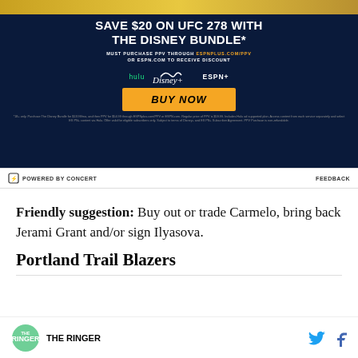[Figure (screenshot): Advertisement banner for UFC 278 with Disney Bundle discount. Dark navy background with text 'SAVE $20 ON UFC 278 WITH THE DISNEY BUNDLE*', 'MUST PURCHASE PPV THROUGH ESPNPLUS.COM/PPV OR ESPN.COM TO RECEIVE DISCOUNT', Hulu, Disney+, ESPN+ logos, and a gold 'BUY NOW' button. Fine print disclaimer at bottom.]
POWERED BY CONCERT
FEEDBACK
Friendly suggestion: Buy out or trade Carmelo, bring back Jerami Grant and/or sign Ilyasova.
Portland Trail Blazers
[Figure (logo): The Ringer logo — green circle with 'THE RINGER' text in white and black]
[Figure (other): Twitter bird icon and Facebook f icon for social sharing]